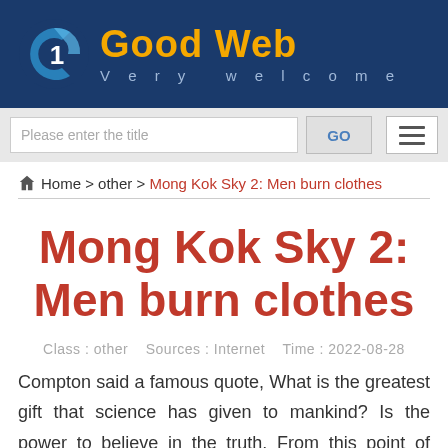[Figure (logo): Good Web website logo with blue background, stylized G icon in blue and white, orange 'Good Web' title, and light blue 'Very welcome' subtitle]
Please enter the title  GO  [hamburger menu]
🏠 Home > other > Mong Kok Sky 2: Men burn clothes
Mong Kok Sky 2: Men burn clothes
Class : other   Sources : Internet   Time : 2022-08-28
Compton said a famous quote, What is the greatest gift that science has given to mankind? Is the power to believe in the truth. From this point of view, This sentence brings us to a new dimension of thinking.